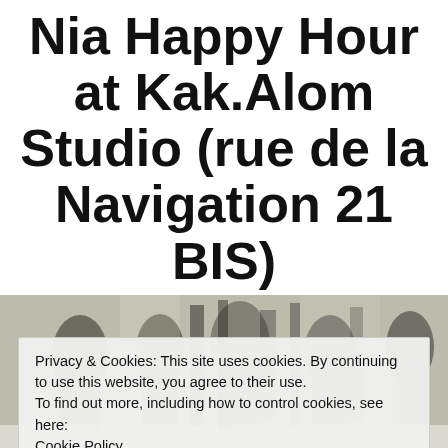Nia Happy Hour at Kak.Alom Studio (rue de la Navigation 21 BIS)
[Figure (photo): Black and white photo of a crowd of people in a studio or indoor event space]
Privacy & Cookies: This site uses cookies. By continuing to use this website, you agree to their use.
To find out more, including how to control cookies, see here:
Cookie Policy
Close and accept
I am pleased to announce that I will will be leading a